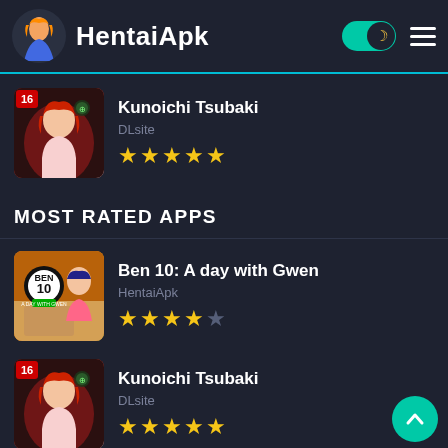HentaiApk
[Figure (screenshot): App thumbnail for Kunoichi Tsubaki - anime style illustration with red-haired character]
Kunoichi Tsubaki
DLsite
★★★★★
MOST RATED APPS
[Figure (screenshot): App thumbnail for Ben 10: A day with Gwen - cartoon style illustration]
Ben 10: A day with Gwen
HentaiApk
★★★★☆
[Figure (screenshot): App thumbnail for Kunoichi Tsubaki - anime style illustration with red-haired character]
Kunoichi Tsubaki
DLsite
★★★★★
NGE OF THE
Genshin: Revenge Of The Slime...